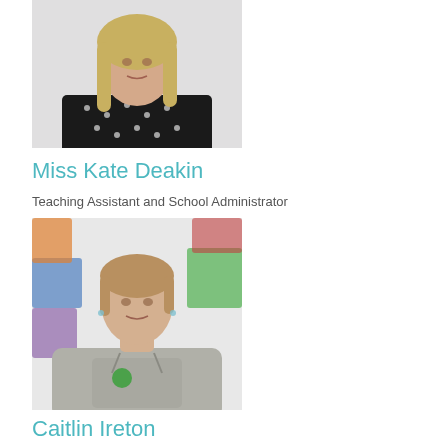[Figure (photo): Headshot photo of a woman with blonde shoulder-length hair wearing a black polka-dot top]
Miss Kate Deakin
Teaching Assistant and School Administrator
[Figure (photo): Photo of a young woman with light brown hair pulled back, wearing a grey hoodie with a green logo, standing in front of colourful artwork]
Caitlin Ireton